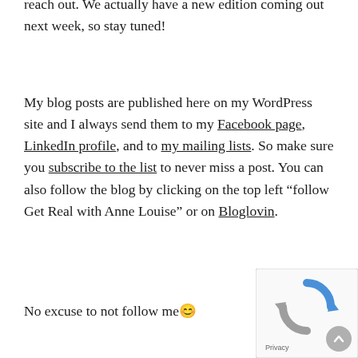reach out. We actually have a new edition coming out next week, so stay tuned!
My blog posts are published here on my WordPress site and I always send them to my Facebook page, LinkedIn profile, and to my mailing lists. So make sure you subscribe to the list to never miss a post. You can also follow the blog by clicking on the top left “follow Get Real with Anne Louise” or on Bloglovin.
No excuse to not follow me😊
[Figure (other): reCAPTCHA widget with spinning arrows logo and Privacy label, with a scroll-to-top circular arrow button overlaid]